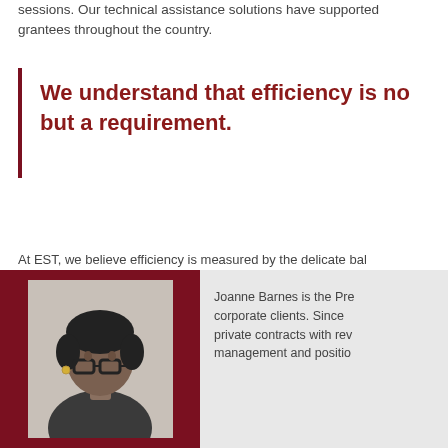sessions. Our technical assistance solutions have supported grantees throughout the country.
We understand that efficiency is not a luxury, but a requirement.
At EST, we believe efficiency is measured by the delicate balance of using fully compliant and operational Cloud Technology Support throughout the entire project cycle. Our Cloud Technology Support includes data aggregation, data analysis, data projection, listserv management, attendee communication, grantee management and consultation.
[Figure (photo): Headshot photo of Joanne Barnes, a woman with short dark hair wearing glasses]
Joanne Barnes is the President... corporate clients. Since... private contracts with revenue... management and position...